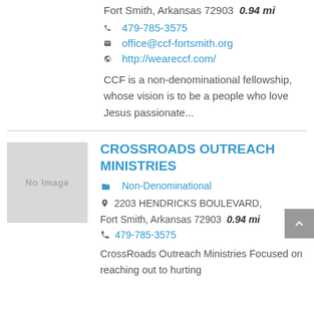Fort Smith, Arkansas 72903  0.94 mi
479-785-3575
office@ccf-fortsmith.org
http://weareccf.com/
CCF is a non-denominational fellowship, whose vision is to be a people who love Jesus passionate...
CROSSROADS OUTREACH MINISTRIES
Non-Denominational
2203 HENDRICKS BOULEVARD, Fort Smith, Arkansas 72903  0.94 mi
479-785-3575
CrossRoads Outreach Ministries Focused on reaching out to hurting
[Figure (other): No Image placeholder box]